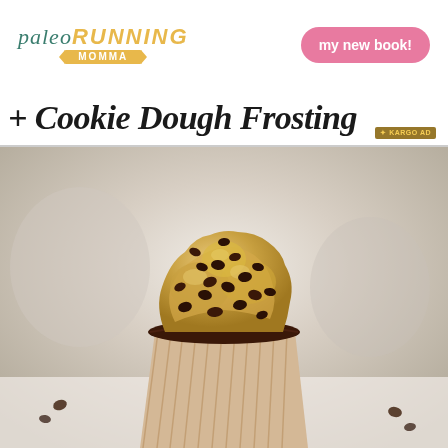paleo RUNNING MOMMA | my new book!
+ Cookie Dough Frosting
[Figure (photo): Close-up photo of a chocolate cupcake in a parchment paper liner topped with cookie dough frosting and mini chocolate chips, with more cupcakes blurred in the background]